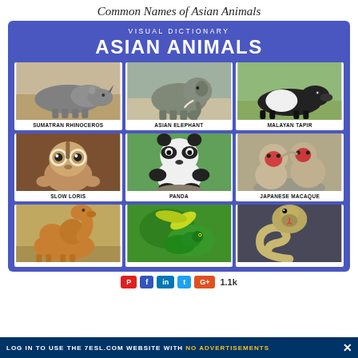Common Names of Asian Animals
[Figure (infographic): Visual Dictionary of Asian Animals showing a 3x3 grid of animal photos with labels: Sumatran Rhinoceros, Asian Elephant, Malayan Tapir, Slow Loris, Panda, Japanese Macaque, Camel (partial), bird/animal (partial), Cobra (partial). Blue background card with title 'VISUAL DICTIONARY / ASIAN ANIMALS'.]
LOG IN TO USE THE 7ESL.COM WEBSITE WITH NO ADVERTISEMENTS